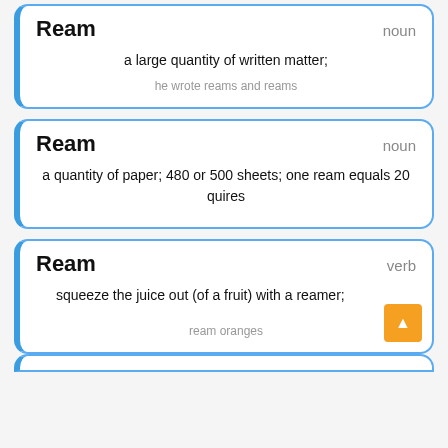Ream
noun
a large quantity of written matter;
he wrote reams and reams
Ream
noun
a quantity of paper; 480 or 500 sheets; one ream equals 20 quires
Ream
verb
squeeze the juice out (of a fruit) with a reamer;
ream oranges